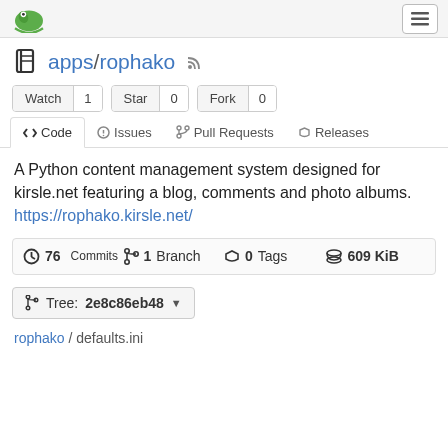apps/rophako — Gitea navigation bar
apps/rophako
Watch 1  Star 0  Fork 0
<> Code  Issues  Pull Requests  Releases
A Python content management system designed for kirsle.net featuring a blog, comments and photo albums. https://rophako.kirsle.net/
76 Commits  1 Branch  0 Tags  609 KiB
Tree: 2e8c86eb48
rophako / defaults.ini